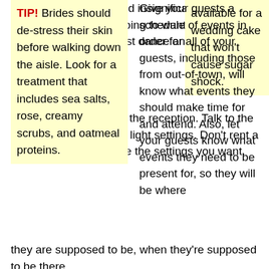take place. It may sound insignificant, but you are probably going to want to dim the lights for the first dance and turn them back up for the remainder of the reception. Talk to the venue owner about the light settings. Don't rent a venue that doesn't have the settings you want.
available for a wedding cake that won't cause sugar shock.
TIP! Brides should de-stress their skin before walking down the aisle. Look for a treatment that includes sea salts, rose, creamy scrubs, and oatmeal proteins.
Give your guests a schedule of events in order for all of your guests, including those from out-of-town, will know what events they should make time for and attend. Also, let your guests know what events they need to be present for, so they will be where they are supposed to be, when they're supposed to be there.